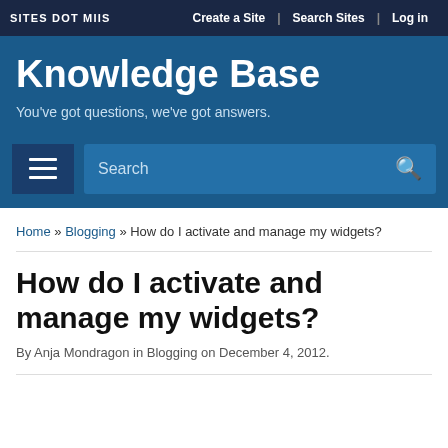SITES DOT MIIS | Create a Site | Search Sites | Log in
Knowledge Base
You've got questions, we've got answers.
Home » Blogging » How do I activate and manage my widgets?
How do I activate and manage my widgets?
By Anja Mondragon in Blogging on December 4, 2012.